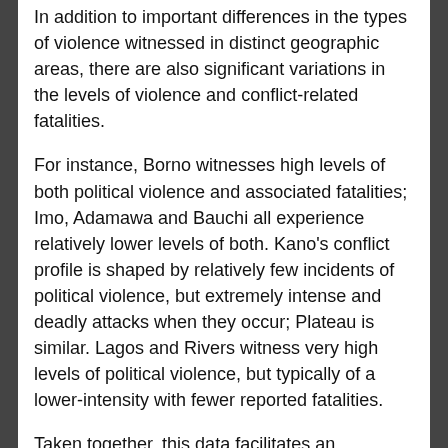In addition to important differences in the types of violence witnessed in distinct geographic areas, there are also significant variations in the levels of violence and conflict-related fatalities.
For instance, Borno witnesses high levels of both political violence and associated fatalities; Imo, Adamawa and Bauchi all experience relatively lower levels of both. Kano's conflict profile is shaped by relatively few incidents of political violence, but extremely intense and deadly attacks when they occur; Plateau is similar. Lagos and Rivers witness very high levels of political violence, but typically of a lower-intensity with fewer reported fatalities.
Taken together, this data facilitates an understanding of the extent of insecurity, and the intensity and levels of vulnerability to violence experienced by populations across the country.